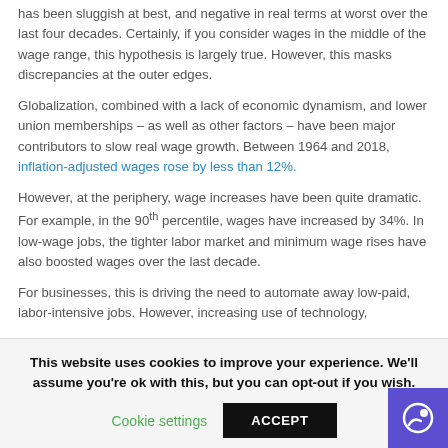Conventional wisdom has it that wage growth in the United States has been sluggish at best, and negative in real terms at worst over the last four decades. Certainly, if you consider wages in the middle of the wage range, this hypothesis is largely true. However, this masks discrepancies at the outer edges.
Globalization, combined with a lack of economic dynamism, and lower union memberships – as well as other factors – have been major contributors to slow real wage growth. Between 1964 and 2018, inflation-adjusted wages rose by less than 12%.
However, at the periphery, wage increases have been quite dramatic. For example, in the 90th percentile, wages have increased by 34%. In low-wage jobs, the tighter labor market and minimum wage rises have also boosted wages over the last decade.
For businesses, this is driving the need to automate away low-paid, labor-intensive jobs. However, increasing use of technology,
This website uses cookies to improve your experience. We'll assume you're ok with this, but you can opt-out if you wish.